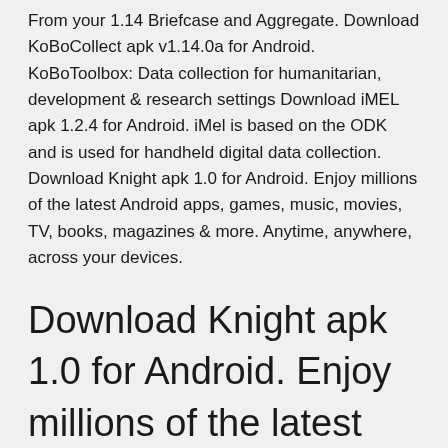From your 1.14 Briefcase and Aggregate. Download KoBoCollect apk v1.14.0a for Android. KoBoToolbox: Data collection for humanitarian, development & research settings Download iMEL apk 1.2.4 for Android. iMel is based on the ODK and is used for handheld digital data collection. Download Knight apk 1.0 for Android. Enjoy millions of the latest Android apps, games, music, movies, TV, books, magazines & more. Anytime, anywhere, across your devices.
Download Knight apk 1.0 for Android. Enjoy millions of the latest Android apps, games, music, movies, TV, books, magazines & more. Anytime, anywhere, across your